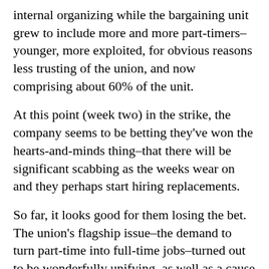internal organizing while the bargaining unit grew to include more and more part-timers–younger, more exploited, for obvious reasons less trusting of the union, and now comprising about 60% of the unit.
At this point (week two) in the strike, the company seems to be betting they've won the hearts-and-minds thing–that there will be significant scabbing as the weeks wear on and they perhaps start hiring replacements.
So far, it looks good for them losing the bet. The union's flagship issue–the demand to turn part-time into full-time jobs–turned out to be wonderfully unifying, as well as a cause for widespread public sympathy, a rarity in today's industrial disputes.
UPS has expanded its overnight and two-day air delivery business over the last few years. Members were shocked to learn that of the 43,000 new jobs created in that expansion (since 1993), 35,000–over